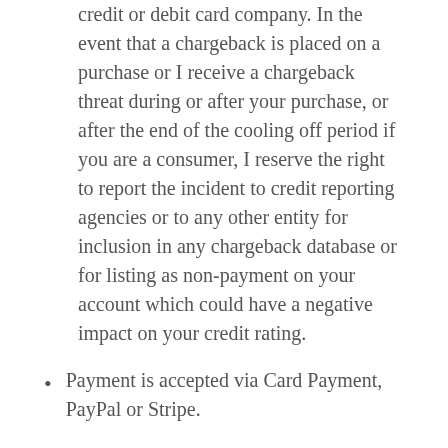credit or debit card company. In the event that a chargeback is placed on a purchase or I receive a chargeback threat during or after your purchase, or after the end of the cooling off period if you are a consumer, I reserve the right to report the incident to credit reporting agencies or to any other entity for inclusion in any chargeback database or for listing as non-payment on your account which could have a negative impact on your credit rating.
Payment is accepted via Card Payment, PayPal or Stripe.
6. INTELLECTUAL PROPERTY
If I provide you with any materials or member accounts, whether digital or